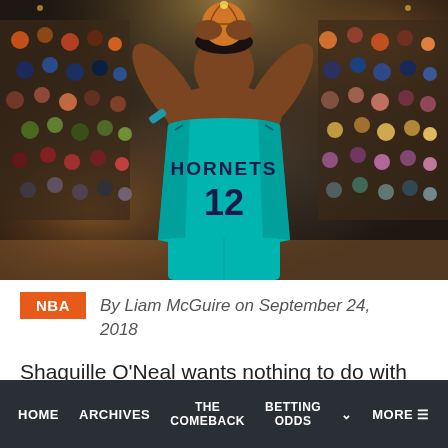[Figure (photo): Basketball player wearing Charlotte Hornets teal jersey number 12, shooting a basketball with both hands raised above head, crowd visible in background at an NBA arena]
NBA   By Liam McGuire on September 24, 2018
Shaquille O'Neal wants nothing to do with Dwight
HOME   ARCHIVES   THE COMEBACK   BETTING ODDS   MORE